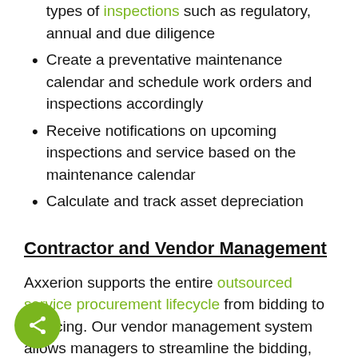types of inspections such as regulatory, annual and due diligence
Create a preventative maintenance calendar and schedule work orders and inspections accordingly
Receive notifications on upcoming inspections and service based on the maintenance calendar
Calculate and track asset depreciation
Contractor and Vendor Management
Axxerion supports the entire outsourced service procurement lifecycle from bidding to invoicing. Our vendor management system allows managers to streamline the bidding, contracting,